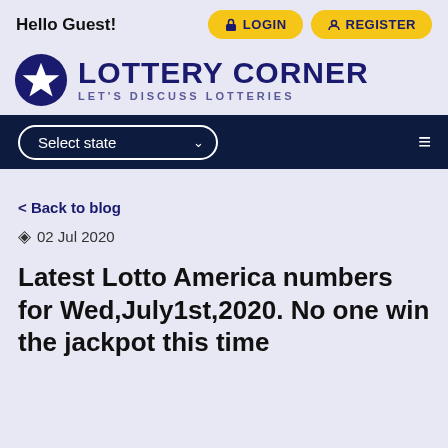Hello Guest!
[Figure (logo): Lottery Corner logo with star icon, text LOTTERY CORNER and tagline LET'S DISCUSS LOTTERIES]
Select state
< Back to blog
02 Jul 2020
Latest Lotto America numbers for Wed,July1st,2020. No one win the jackpot this time